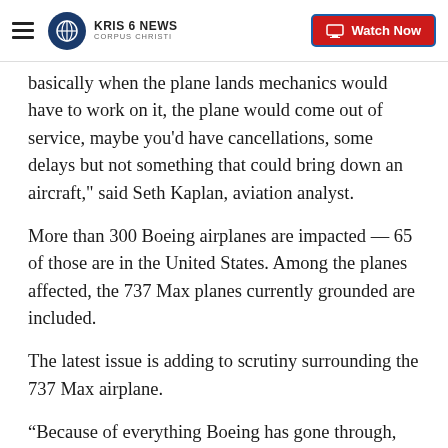KRIS 6 NEWS CORPUS CHRISTI | Watch Now
basically when the plane lands mechanics would have to work on it, the plane would come out of service, maybe you'd have cancellations, some delays but not something that could bring down an aircraft," said Seth Kaplan, aviation analyst.
More than 300 Boeing airplanes are impacted — 65 of those are in the United States. Among the planes affected, the 737 Max planes currently grounded are included.
The latest issue is adding to scrutiny surrounding the 737 Max airplane.
“Because of everything Boeing has gone through,